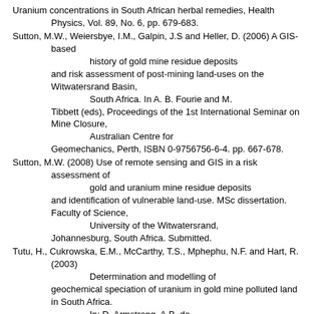Uranium concentrations in South African herbal remedies, Health Physics, Vol. 89, No. 6, pp. 679-683.
Sutton, M.W., Weiersbye, I.M., Galpin, J.S and Heller, D. (2006) A GIS-based history of gold mine residue deposits and risk assessment of post-mining land-uses on the Witwatersrand Basin, South Africa. In A. B. Fourie and M. Tibbett (eds), Proceedings of the 1st International Seminar on Mine Closure, Australian Centre for Geomechanics, Perth, ISBN 0-9756756-6-4. pp. 667-678.
Sutton, M.W. (2008) Use of remote sensing and GIS in a risk assessment of gold and uranium mine residue deposits and identification of vulnerable land-use. MSc dissertation. Faculty of Science, University of the Witwatersrand, Johannesburg, South Africa. Submitted.
Tutu, H., Cukrowska, E.M., McCarthy, T.S., Mphephu, N.F. and Hart, R. (2003) Determination and modelling of geochemical speciation of uranium in gold mine polluted land in South Africa. In: D. Armstrong, A.B. de Villiers, R.L.P. Kleinmann, T.S. McCarthy and P.J. Norton (eds), Mine Water and the Environment, Proceedings of the 8th International Mine Water Association Congress, Johannesburg, South Africa, pp. 137-149.
Tutu, H., McCarthy, T.S. and Cukrowska, E.M. (2008) The chemical characteristics of acid mine drainage with particular reference to sources, distribution and remediation: the Witwatersrand Basin, South Africa as a case study. Applied Geochemistry (in press).